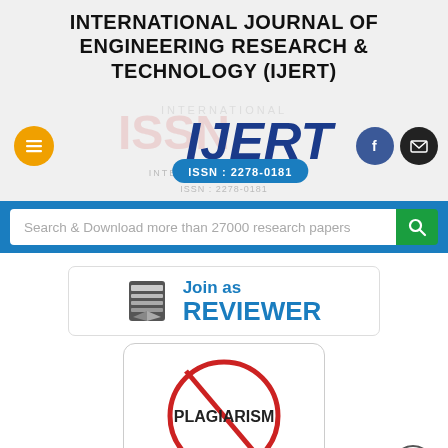INTERNATIONAL JOURNAL OF ENGINEERING RESEARCH & TECHNOLOGY (IJERT)
[Figure (logo): IJERT logo with ISSN watermark background, menu button (orange), Facebook and email social buttons]
Search & Download more than 27000 research papers
[Figure (infographic): Join as REVIEWER banner with book/pages icon]
[Figure (infographic): Anti-plagiarism symbol: red circle with diagonal line over the word PLAGIARISM]